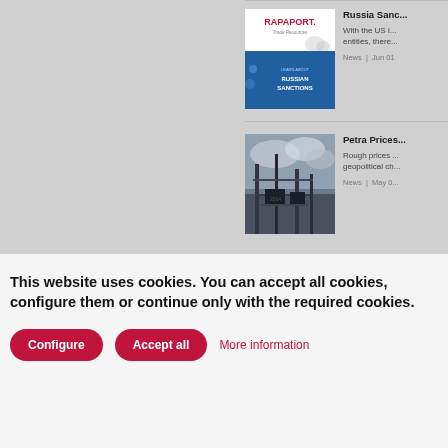[Figure (screenshot): Rapaport Trade Resources banner about Russian Sanctions - red and blue graphic with RAPAPORT logo and text LEARN ABOUT RUSSIAN SANCTIONS]
Russia Sanc...
With the US i... entities, there...
News | Jun 01
[Figure (photo): Industrial mining facility with scaffolding and machinery against cloudy sky - Petra Diamonds]
Petra Prices...
Rough prices ... geopolitical ch...
News | May 0...
This website uses cookies. You can accept all cookies, configure them or continue only with the required cookies.
Configure | Accept all | More information